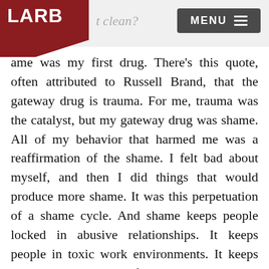LARB | t clean? | MENU
ame was my first drug. There’s this quote, often attributed to Russell Brand, that the gateway drug is trauma. For me, trauma was the catalyst, but my gateway drug was shame. All of my behavior that harmed me was a reaffirmation of the shame. I felt bad about myself, and then I did things that would produce more shame. It was this perpetuation of a shame cycle. And shame keeps people locked in abusive relationships. It keeps people in toxic work environments. It keeps people in all sorts of unhealthy situations because it’s really difficult to confront the reality of a situation, because that’s more painful. It stopped me asking for help.